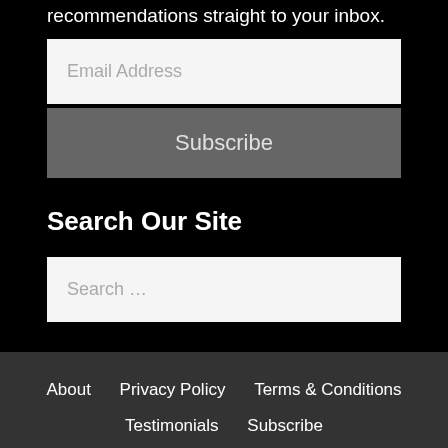recommendations straight to your inbox.
Email Address
Subscribe
Search Our Site
Search …
About   Privacy Policy   Terms & Conditions   Testimonials   Subscribe   © 2022 It's Write Now.com